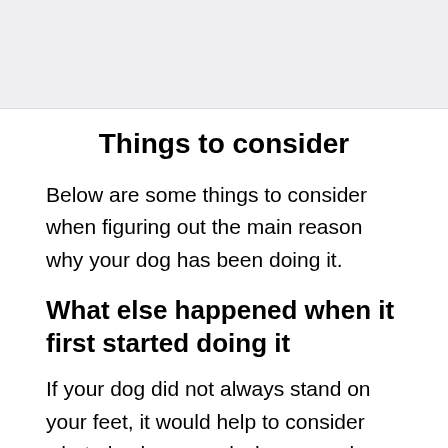[Figure (photo): Image placeholder area at the top of the page]
Things to consider
Below are some things to consider when figuring out the main reason why your dog has been doing it.
What else happened when it first started doing it
If your dog did not always stand on your feet, it would help to consider what else happened when your dog first started doing it. If it started doing it suddenly, it could be due to